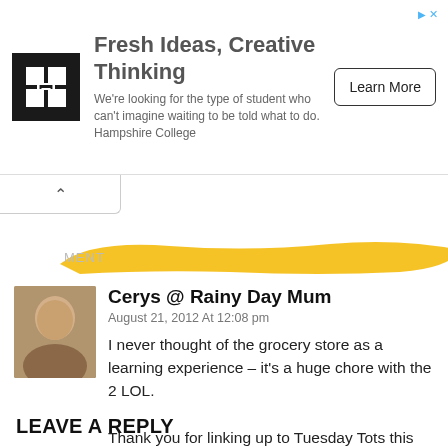[Figure (advertisement): Ad banner for Hampshire College with logo, headline 'Fresh Ideas, Creative Thinking', body text, and 'Learn More' button]
[Figure (illustration): Yellow/gold brushstroke highlight bar with partial text 'MENT' visible, likely part of 'COMMENT']
[Figure (photo): Avatar photo of Cerys @ Rainy Day Mum]
Cerys @ Rainy Day Mum
August 21, 2012 At 12:08 pm
I never thought of the grocery store as a learning experience – it's a huge chore with the 2 LOL.

Thank you for linking up to Tuesday Tots this week
Reply
LEAVE A REPLY